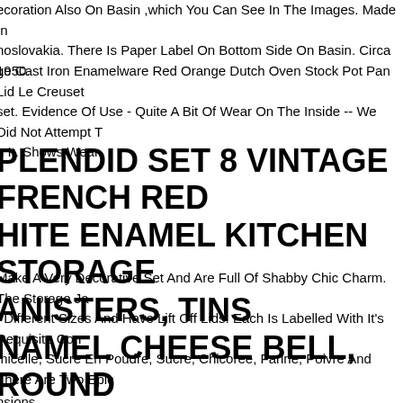ecoration Also On Basin ,which You Can See In The Images. Made In noslovakia. There Is Paper Label On Bottom Side On Basin. Circa 1950.
ge Cast Iron Enamelware Red Orange Dutch Oven Stock Pot Pan Lid Le Creuset set. Evidence Of Use - Quite A Bit Of Wear On The Inside -- We Did Not Attempt T n It. Shows Wear.
SPLENDID SET 8 VINTAGE FRENCH RED WHITE ENAMEL KITCHEN STORAGE CANISTERS, TINS
Make A Very Decorative Set And Are Full Of Shabby Chic Charm. The Storage Ja f Different Sizes And Have Lift Off Lids. Each Is Labelled With It's Requisite Con micelle, Sucre En Poudre, Sucre, Chicoree, Farine, Poivre And There Are Two Epic
ENAMEL CHEESE BELL, ROUND NOSTALGIA COVER WITH PLATE, SPOTTED WHITE
nsions.